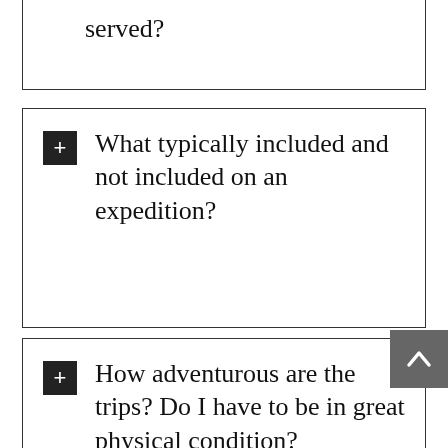served?
What typically included and not included on an expedition?
How adventurous are the trips? Do I have to be in great physical condition?